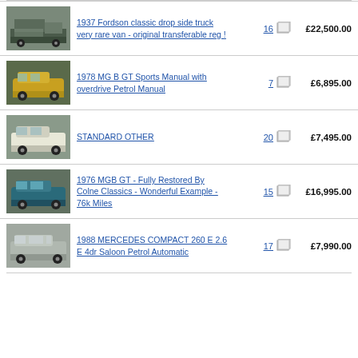1937 Fordson classic drop side truck very rare van - original transferable reg !
1978 MG B GT Sports Manual with overdrive Petrol Manual
STANDARD OTHER
1976 MGB GT - Fully Restored By Colne Classics - Wonderful Example - 76k Miles
1988 MERCEDES COMPACT 260 E 2.6 E 4dr Saloon Petrol Automatic